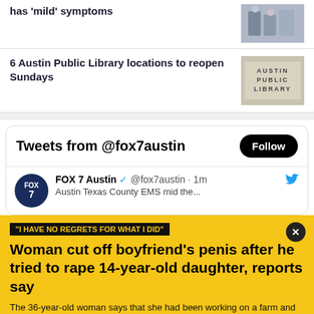has 'mild' symptoms
6 Austin Public Library locations to reopen Sundays
Tweets from @fox7austin
FOX 7 Austin @fox7austin · 1m
"I HAVE NO REGRETS FOR WHAT I DID"
Woman cut off boyfriend's penis after he tried to rape 14-year-old daughter, reports say
The 36-year-old woman says that she had been working on a farm and came home to find her 32-year-old, live-in boyfriend attacking her teenage daughter.